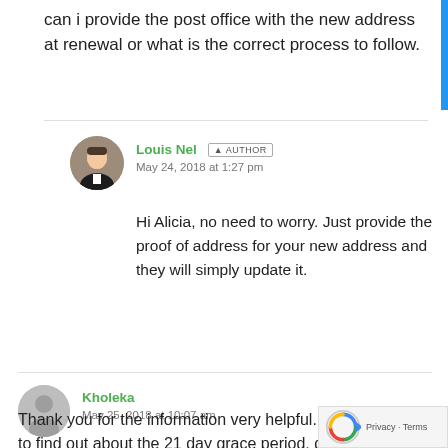can i provide the post office with the new address at renewal or what is the correct process to follow.
Louis Nel AUTHOR
May 24, 2018 at 1:27 pm
Hi Alicia, no need to worry. Just provide the proof of address for your new address and they will simply update it.
Kholeka
May 25, 2018 at 10:07 am
Thank you for the information very helpful. I just w... to find out about the 21 day grace period, does it a... apply when you get stopped the cops or can they fine you